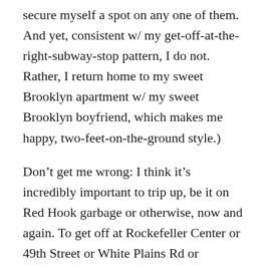secure myself a spot on any one of them. And yet, consistent w/ my get-off-at-the-right-subway-stop pattern, I do not. Rather, I return home to my sweet Brooklyn apartment w/ my sweet Brooklyn boyfriend, which makes me happy, two-feet-on-the-ground style.)
Don’t get me wrong: I think it’s incredibly important to trip up, be it on Red Hook garbage or otherwise, now and again. To get off at Rockefeller Center or 49th Street or White Plains Rd or wherever else. To hop that flight to Kansas City, damnit! (Or, well.) But it’s equally